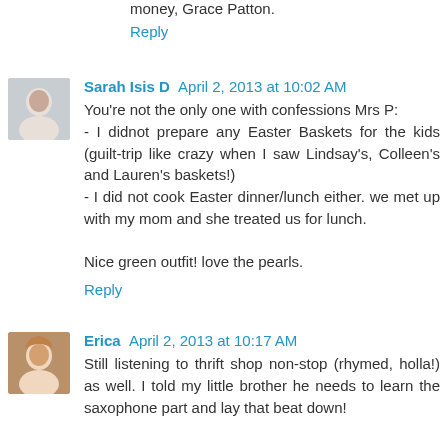money, Grace Patton.
Reply
Sarah Isis D  April 2, 2013 at 10:02 AM
You're not the only one with confessions Mrs P:
- I didnot prepare any Easter Baskets for the kids (guilt-trip like crazy when I saw Lindsay's, Colleen's and Lauren's baskets!)
- I did not cook Easter dinner/lunch either. we met up with my mom and she treated us for lunch.

Nice green outfit! love the pearls.
Reply
Erica  April 2, 2013 at 10:17 AM
Still listening to thrift shop non-stop (rhymed, holla!) as well. I told my little brother he needs to learn the saxophone part and lay that beat down!